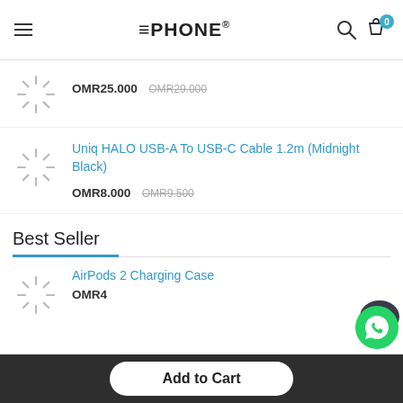EPHONE
OMR25.000  OMR29.000 (strikethrough)
Uniq HALO USB-A To USB-C Cable 1.2m (Midnight Black)
OMR8.000  OMR9.500 (strikethrough)
Best Seller
AirPods 2 Charging Case
OMR4...